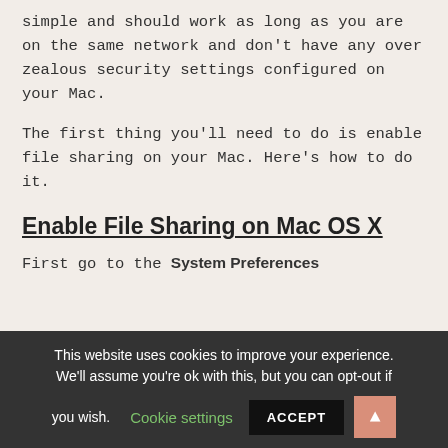simple and should work as long as you are on the same network and don't have any over zealous security settings configured on your Mac.
The first thing you'll need to do is enable file sharing on your Mac. Here's how to do it.
Enable File Sharing on Mac OS X
First go to the System Preferences
This website uses cookies to improve your experience. We'll assume you're ok with this, but you can opt-out if you wish. Cookie settings ACCEPT